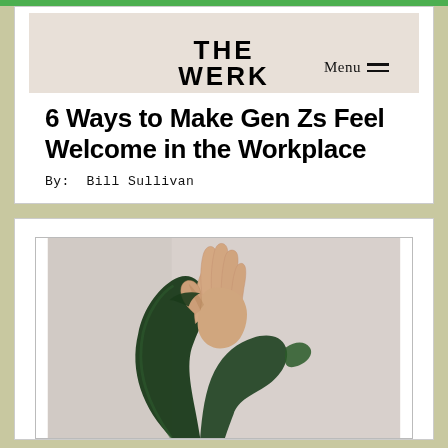THE WERK
6 Ways to Make Gen Zs Feel Welcome in the Workplace
By:  Bill Sullivan
[Figure (photo): A hand gripping a large dark green leaf (monstera) against a light grey background.]